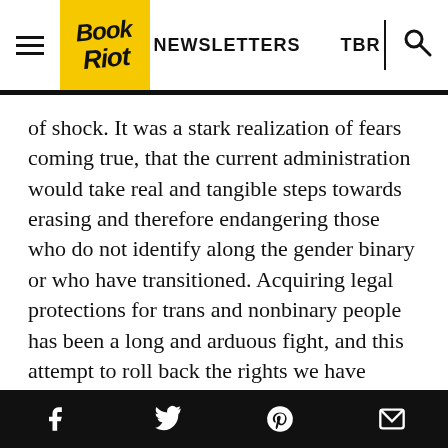Book Riot | NEWSLETTERS  TBR
of shock. It was a stark realization of fears coming true, that the current administration would take real and tangible steps towards erasing and therefore endangering those who do not identify along the gender binary or who have transitioned. Acquiring legal protections for trans and nonbinary people has been a long and arduous fight, and this attempt to roll back the rights we have gained during the Obama administration is a direct attack.
The truth is that what this memo threatens to do,
Facebook  Twitter  Pinterest  Email